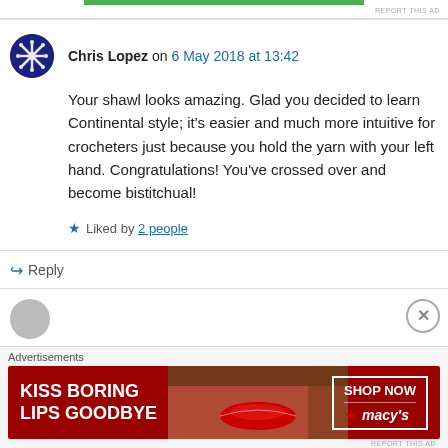REPORT THIS AD
Chris Lopez on 6 May 2018 at 13:42
Your shawl looks amazing. Glad you decided to learn Continental style; it's easier and much more intuitive for crocheters just because you hold the yarn with your left hand. Congratulations! You've crossed over and become bistitchual!
Liked by 2 people
Reply
Advertisements
[Figure (illustration): Macy's advertisement banner: red background with woman's face showing red lips. Text reads 'KISS BORING LIPS GOODBYE' with 'SHOP NOW' button and Macy's star logo.]